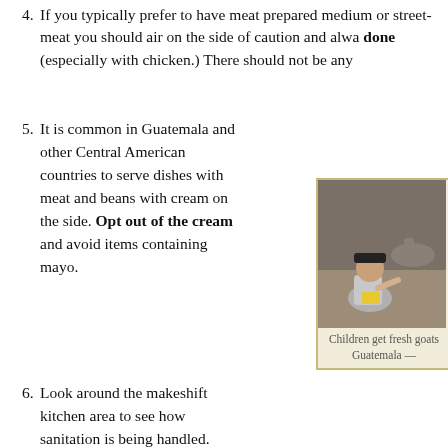4. If you typically prefer to have meat prepared medium or... street-meat you should air on the side of caution and alwa... done (especially with chicken.) There should not be any...
5. It is common in Guatemala and other Central American countries to serve dishes with meat and beans with cream on the side. Opt out of the cream and avoid items containing mayo.
[Figure (photo): A child sitting on the ground wearing a black cap and grey shirt, with a goat visible behind them. Scene appears to be in Guatemala.]
Children get fresh goats Guatemala —
6. Look around the makeshift kitchen area to see how sanitation is being handled. Are they wearing gloves? Are they handling both the raw and cooked meat with the same utensils? Do they have a wash-bin for utensils and the cook's hands, or do they have a Saint Bernard out back who washes the plates clean wher...